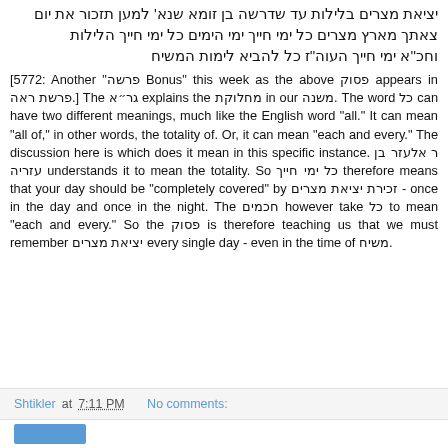יציאת מצרים בלילות עד שדרשה בן זומא שנא' למען תזכור את יום צאתך מארץ מצרים כל ימי חייך ימי חיים כל ימי חייך הלילות וחכ''א ימי חייך העוה''ז כל להביא לימות המשיח
[5772: Another "פרשה Bonus" this week as the above פסוק appears in פרשת ראה.] The גר"א explains the מחלוקת in our משנה. The word כל can have two different meanings, much like the English word "all." It can mean "all of," in other words, the totality of. Or, it can mean "each and every." The discussion here is which does it mean in this specific instance. ר אלעזר בן עזריה understands it to mean the totality. So כל ימי חייך therefore means that your day should be "completely covered" by זכירת יציאת מצרים - once in the day and once in the night. The חכמים however take כל to mean "each and every." So the פסוק is therefore teaching us that we must remember יציאת מצרים every single day - even in the time of משיח.
Shtikler at 7:11 PM   No comments: